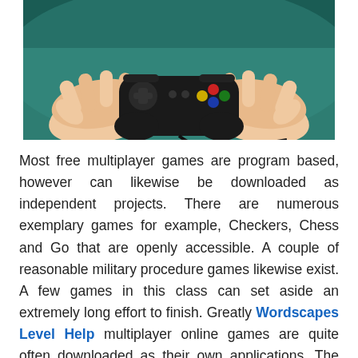[Figure (photo): Hands holding a black gaming controller/gamepad against a teal/green background]
Most free multiplayer games are program based, however can likewise be downloaded as independent projects. There are numerous exemplary games for example, Checkers, Chess and Go that are openly accessible. A couple of reasonable military procedure games likewise exist. A few games in this class can set aside an extremely long effort to finish. Greatly Wordscapes Level Help multiplayer online games are quite often downloaded as their own applications. The determination of allowed to play online games in this sort has extended significantly with the advances in web innovation and minimal effort of PC equipment. An enormously multiplayer online game comprises of the player making one or a few characters in the game world and gradually propelling that character through